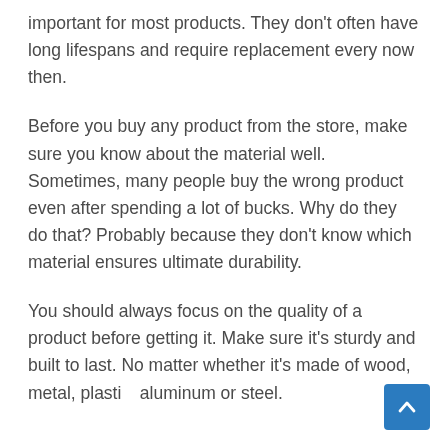important for most products. They don't often have long lifespans and require replacement every now then.
Before you buy any product from the store, make sure you know about the material well. Sometimes, many people buy the wrong product even after spending a lot of bucks. Why do they do that? Probably because they don't know which material ensures ultimate durability.
You should always focus on the quality of a product before getting it. Make sure it's sturdy and built to last. No matter whether it's made of wood, metal, plastic, aluminum or steel.